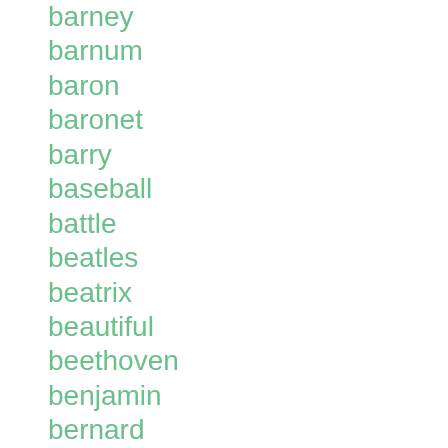barney
barnum
baron
baronet
barry
baseball
battle
beatles
beatrix
beautiful
beethoven
benjamin
bernard
best
bestall
bette
betty